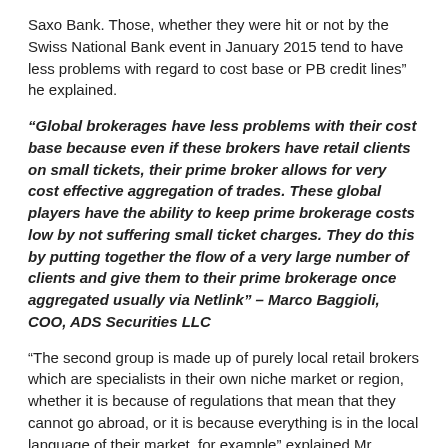Saxo Bank. Those, whether they were hit or not by the Swiss National Bank event in January 2015 tend to have less problems with regard to cost base or PB credit lines" he explained.
“Global brokerages have less problems with their cost base because even if these brokers have retail clients on small tickets, their prime broker allows for very cost effective aggregation of trades. These global players have the ability to keep prime brokerage costs low by not suffering small ticket charges. They do this by putting together the flow of a very large number of clients and give them to their prime brokerage once aggregated usually via Netlink” – Marco Baggioli, COO, ADS Securities LLC
“The second group is made up of purely local retail brokers which are specialists in their own niche market or region, whether it is because of regulations that mean that they cannot go abroad, or it is because everything is in the local language of their market, for example” explained Mr. Baggioli.